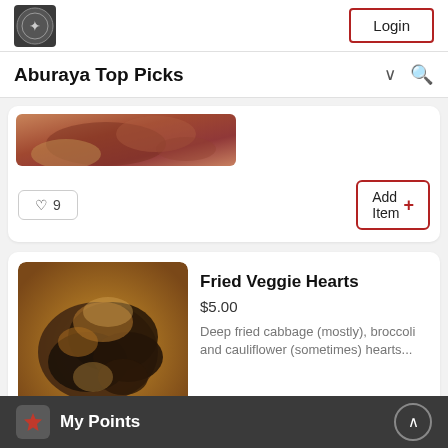Aburaya – Login button header
Aburaya Top Picks
[Figure (photo): Partial food photo, meat dish cropped at top]
♡ 9   Add Item +
[Figure (photo): Fried veggie hearts dish – deep fried dark vegetables in a bowl]
Fried Veggie Hearts
$5.00
Deep fried cabbage (mostly), broccoli and cauliflower (sometimes) hearts...
My Points